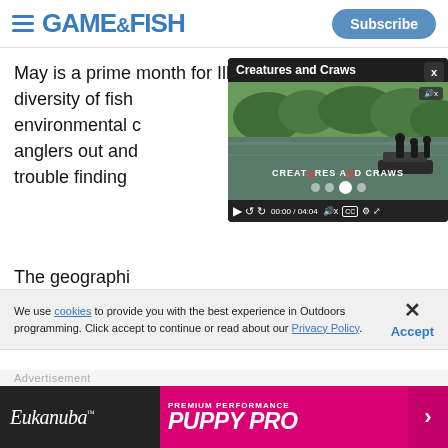GAME&FISH — Subscribe
May is a prime month for Illinois anglers. The broad diversity of fish environmental c anglers out and trouble finding
[Figure (screenshot): Video player overlay showing 'Creatures and Craws' video with river/fishing scene. Controls show 00:00 / 04:04. Mute button visible. CC and settings icons shown.]
The geographic exceeded only by the diverse number of species. For
We use cookies to provide you with the best experience in Outdoors programming. Click accept to continue or read about our Privacy Policy.
Advertisement
[Figure (infographic): Eukanuba Premium Performance Puppy Pro advertisement banner with pink/magenta background and arrow button]